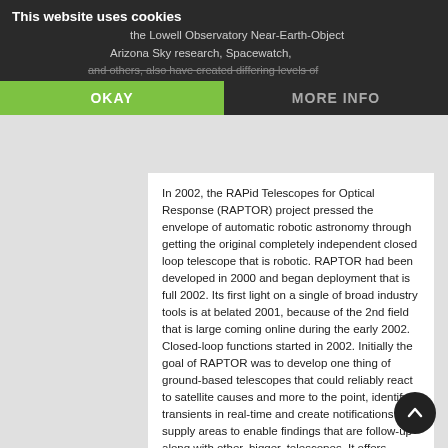This website uses cookies
the Lowell Observatory Near-Earth-Object ... Arizona Sky research, Spacewatch, and others, also have created differing levels of
OKAY
MORE INFO
In 2002, the RAPid Telescopes for Optical Response (RAPTOR) project pressed the envelope of automatic robotic astronomy through getting the original completely independent closed loop telescope that is robotic. RAPTOR had been developed in 2000 and began deployment that is full 2002. Its first light on a single of broad industry tools is at belated 2001, because of the 2nd field that is large coming online during the early 2002. Closed-loop functions started in 2002. Initially the goal of RAPTOR was to develop one thing of ground-based telescopes that could reliably react to satellite causes and more to the point, identify transients in real-time and create notifications with supply areas to enable findings that are follow-up along with other, bigger, telescopes. It offers achieved these two targets